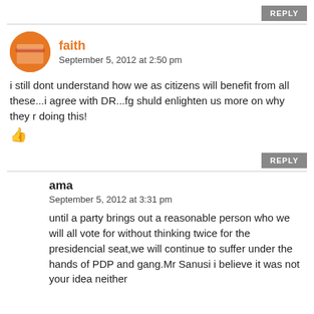REPLY
faith
September 5, 2012 at 2:50 pm
i still dont understand how we as citizens will benefit from all these...i agree with DR...fg shuld enlighten us more on why they r doing this!
REPLY
ama
September 5, 2012 at 3:31 pm
until a party brings out a reasonable person who we will all vote for without thinking twice for the presidencial seat,we will continue to suffer under the hands of PDP and gang.Mr Sanusi i believe it was not your idea neither